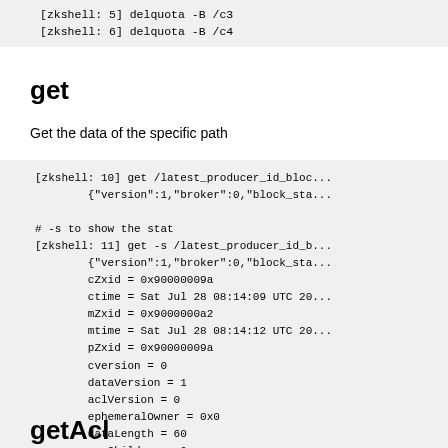[zkshell: 5] delquota -B /c3
[zkshell: 6] delquota -B /c4
get
Get the data of the specific path
[zkshell: 10] get /latest_producer_id_bloc...
        {"version":1,"broker":0,"block_sta...

# -s to show the stat
[zkshell: 11] get -s /latest_producer_id_b...
        {"version":1,"broker":0,"block_sta...
        cZxid = 0x90000009a
        ctime = Sat Jul 28 08:14:09 UTC 20...
        mZxid = 0x9000000a2
        mtime = Sat Jul 28 08:14:12 UTC 20...
        pZxid = 0x90000009a
        cversion = 0
        dataVersion = 1
        aclVersion = 0
        ephemeralOwner = 0x0
        dataLength = 60
        numChildren = 0

# -w to set a watch on the data change, No...
[zkshell: 12] get -w /latest_producer_id_b...
        {"version":1,"broker":0,"block_sta...
[zkshell: 13] set /latest_producer_id_bloc...
        WATCHER::
        WatchedEvent state:SyncConnected t...
getAcl